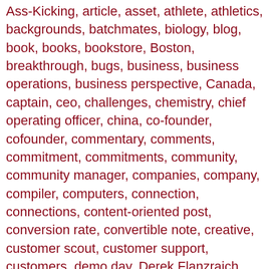Ass-Kicking, article, asset, athlete, athletics, backgrounds, batchmates, biology, blog, book, books, bookstore, Boston, breakthrough, bugs, business, business operations, business perspective, Canada, captain, ceo, challenges, chemistry, chief operating officer, china, co-founder, cofounder, commentary, comments, commitment, commitments, community, community manager, companies, company, compiler, computers, connection, connections, content-oriented post, conversion rate, convertible note, creative, customer scout, customer support, customers, demo day, Derek Flanzraich, developing world, dinners, distribution